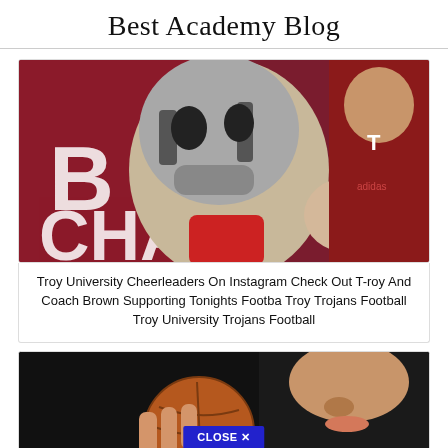Best Academy Blog
[Figure (photo): A football mascot costume character giving a thumbs up next to a man in a red shirt, with a maroon banner showing partial text 'B CHA' in the background.]
Troy University Cheerleaders On Instagram Check Out T-roy And Coach Brown Supporting Tonights Footba Troy Trojans Football Troy University Trojans Football
[Figure (photo): Close-up of a young man's face with a basketball, dark background, with a blue 'CLOSE X' button overlay at the bottom center.]